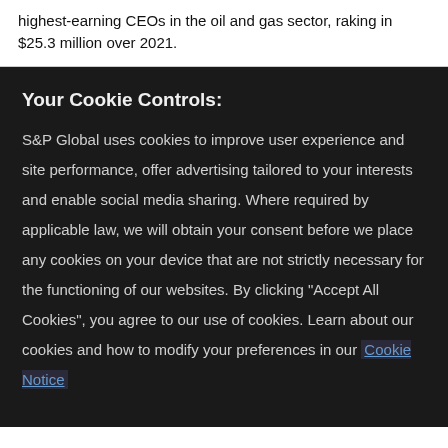highest-earning CEOs in the oil and gas sector, raking in $25.3 million over 2021.
Your Cookie Controls:
S&P Global uses cookies to improve user experience and site performance, offer advertising tailored to your interests and enable social media sharing. Where required by applicable law, we will obtain your consent before we place any cookies on your device that are not strictly necessary for the functioning of our websites. By clicking "Accept All Cookies", you agree to our use of cookies. Learn about our cookies and how to modify your preferences in our Cookie Notice